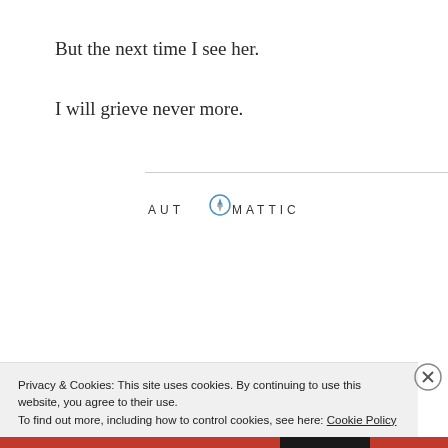But the next time I see her.
I will grieve never more.
[Figure (logo): Automattic company logo with compass icon replacing the O]
[Figure (infographic): Automattic job ad: 'Build a better web and a better world.' with an Apply button and a circular photo of a man thinking]
Privacy & Cookies: This site uses cookies. By continuing to use this website, you agree to their use.
To find out more, including how to control cookies, see here: Cookie Policy
Dúnadh agus toiliú